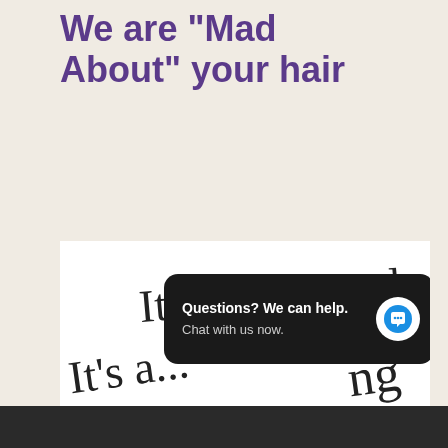We are "Mad About" your hair
October 10, 2019
[Figure (illustration): Handwritten cursive script reading 'It's not a trend... It's a...' on white background, with a chat widget overlay showing 'Questions? We can help. Chat with us now.' with a blue speech bubble icon on dark background.]